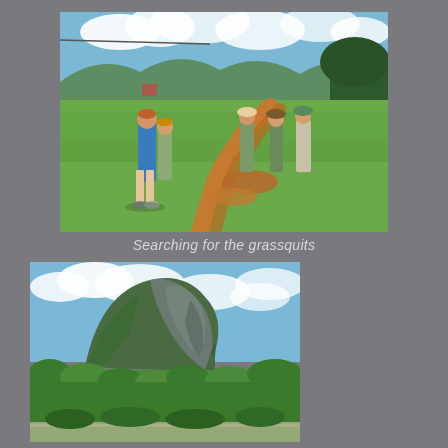[Figure (photo): Group of people walking and standing in a green grassy field with reddish-orange soil tracks visible on the ground. Mountains and trees visible in the background under a partly cloudy sky.]
Searching for the grassquits
[Figure (photo): A large rocky mogote (limestone hill) covered in green vegetation, rising prominently against a partly cloudy blue sky, with lush green trees and shrubs in the foreground.]